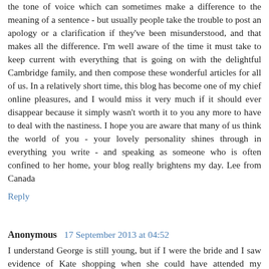the tone of voice which can sometimes make a difference to the meaning of a sentence - but usually people take the trouble to post an apology or a clarification if they've been misunderstood, and that makes all the difference. I'm well aware of the time it must take to keep current with everything that is going on with the delightful Cambridge family, and then compose these wonderful articles for all of us. In a relatively short time, this blog has become one of my chief online pleasures, and I would miss it very much if it should ever disappear because it simply wasn't worth it to you any more to have to deal with the nastiness. I hope you are aware that many of us think the world of you - your lovely personality shines through in everything you write - and speaking as someone who is often confined to her home, your blog really brightens my day. Lee from Canada
Reply
Anonymous 17 September 2013 at 04:52
I understand George is still young, but if I were the bride and I saw evidence of Kate shopping when she could have attended my wedding, I would've been upset. They must